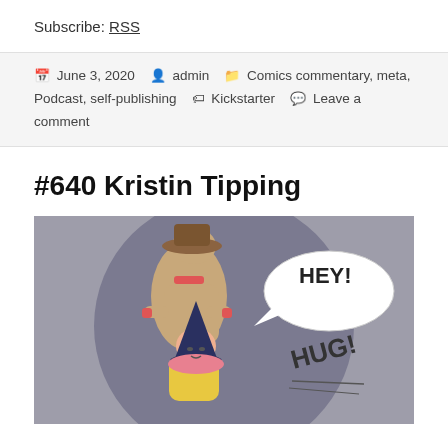Subscribe: RSS
June 3, 2020  admin  Comics commentary, meta, Podcast, self-publishing  Kickstarter  Leave a comment
#640 Kristin Tipping
[Figure (illustration): Comic panel showing a tall figure bending down to hug a smaller figure wearing a witch hat. Speech bubble says HEY! and sound effect text says HUG! Background is a muted purple circle on grey.]